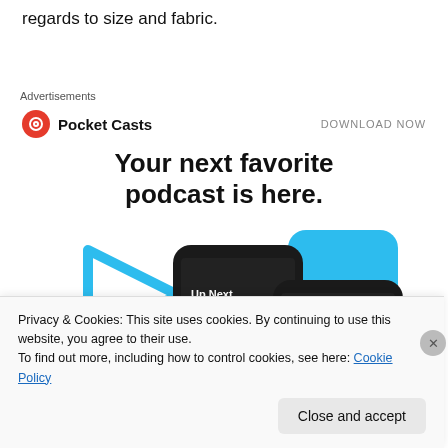regards to size and fabric.
[Figure (infographic): Pocket Casts advertisement banner with logo, 'DOWNLOAD NOW' button, headline 'Your next favorite podcast is here.' and smartphone app screenshots showing 'Up Next' screen.]
Privacy & Cookies: This site uses cookies. By continuing to use this website, you agree to their use.
To find out more, including how to control cookies, see here: Cookie Policy
Close and accept